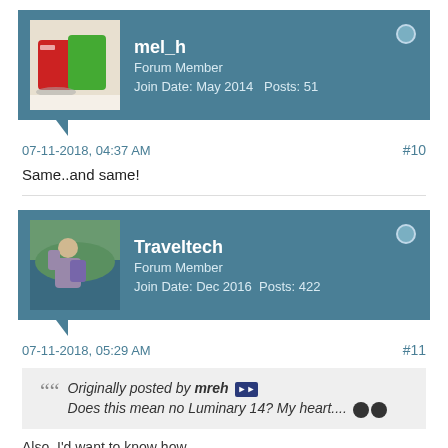[Figure (photo): Forum user card for mel_h showing avatar with mugs, username, role, join date and posts]
07-11-2018, 04:37 AM    #10
Same..and same!
[Figure (photo): Forum user card for Traveltech showing avatar of person outdoors, username, role, join date and posts]
07-11-2018, 05:29 AM    #11
Originally posted by mreh
Does this mean no Luminary 14? My heart....
Also, I'd want to know how...